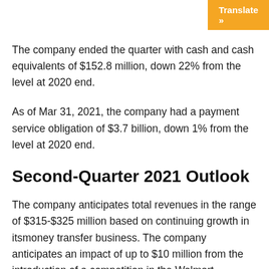The company ended the quarter with cash and cash equivalents of $152.8 million, down 22% from the level at 2020 end.
As of Mar 31, 2021, the company had a payment service obligation of $3.7 billion, down 1% from the level at 2020 end.
Second-Quarter 2021 Outlook
The company anticipates total revenues in the range of $315-$325 million based on continuing growth in itsmoney transfer business. The company anticipates an impact of up to $10 million from the introduction of a competition in the Walmart Marketplace, the rollout of which